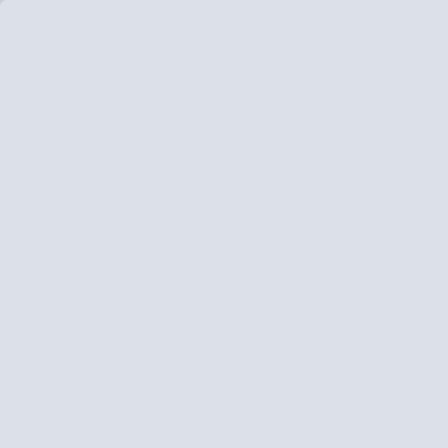the Native American Church's exclusive r... 'decrim'? This 'decrim' to so freely allow "... of special stipulations - by which they got... protecting a particular use of psychedelics... race's entitlement as demanded, by order... https://archive.is/LcnMX#selection-3923.0
< I don't admire that kind of stealth duplici... a manipulative tissue of lies by omission -... line is cast), like cards kept up a dealer's s... personally in that type thing, generally. An... 'special causes' - like an ethos of power f... principle be damned. > https://archive.is/L
Source (Sept 29, 2021) Question to docto... psychedelics by individuals? - www.reddit.com/r/Psychedelics_Society/c
« Last Edit: October 21, 2021, 01:33:02 am by ec
Gathers Frost
DoctorLao
Posts: 9
NonNP; AngloAmer
Re: Shane Norte, Church of the P... for Creator and Mother Earth
« Reply #11 on: October 18, 2021, 04:32:19 pm